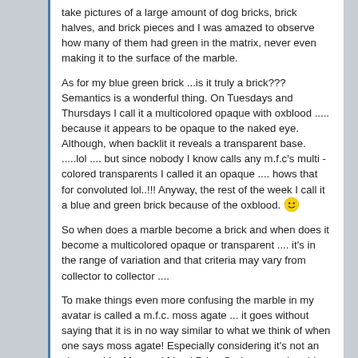take pictures of a large amount of dog bricks, brick halves, and brick pieces and I was amazed to observe how many of them had green in the matrix, never even making it to the surface of the marble.
As for my blue green brick ...is it truly a brick??? Semantics is a wonderful thing. On Tuesdays and Thursdays I call it a multicolored opaque with oxblood ..... because it appears to be opaque to the naked eye. Although, when backlit it reveals a transparent base. .....lol .... but since nobody I know calls any m.f.c's multi - colored transparents I called it an opaque .... hows that for convoluted lol..!!! Anyway, the rest of the week I call it a blue and green brick because of the oxblood. 😀
So when does a marble become a brick and when does it become a multicolored opaque or transparent .... it's in the range of variation and that criteria may vary from collector to collector ....
To make things even more confusing the marble in my avatar is called a m.f.c. moss agate ... it goes without saying that it is in no way similar to what we think of when one says moss agate! Especially considering it's not an akro marble. My good friend Brian Graham may be able to tell us the history of the genesis of the name as it was used by the m.f.c company. They are actually more of a gun metal gray then green. There are bricks with other colors then oxblood, with or without white and black but they are very rare marbles and when they do become availble to buy it is usually done so in private transactions.
In the end ... what's in a name. Whether it be a name the